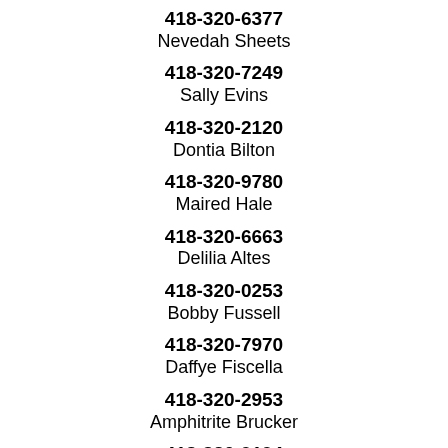418-320-6377
Nevedah Sheets
418-320-7249
Sally Evins
418-320-2120
Dontia Bilton
418-320-9780
Maired Hale
418-320-6663
Delilia Altes
418-320-0253
Bobby Fussell
418-320-7970
Daffye Fiscella
418-320-2953
Amphitrite Brucker
418-320-9194
Juba Aull